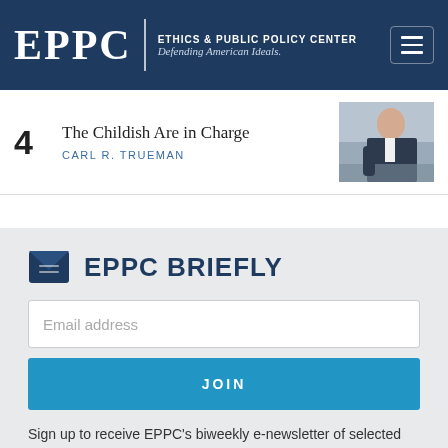EPPC | ETHICS & PUBLIC POLICY CENTER Defending American Ideals.
4  The Childish Are in Charge  CARL R. TRUEMAN
[Figure (photo): Photo of a man in a business suit with a red tie at a conference table]
EPPC BRIEFLY
Email address
JOIN
Sign up to receive EPPC's biweekly e-newsletter of selected publications, news, and events.